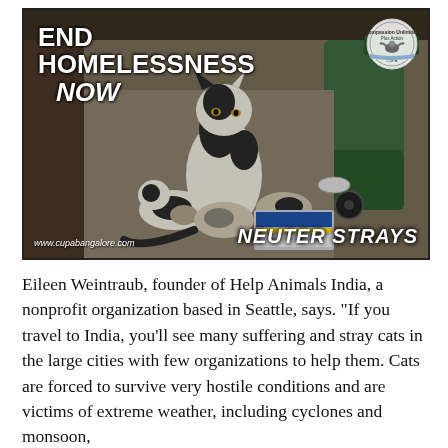[Figure (photo): Photo of a mother cat and kittens on a concrete surface near trash bins and a wooden structure. Overlaid text reads 'END HOMELESSNESS NOW' in the top-left and 'NEUTER STRAYS' in the bottom-right. URL 'www.cupabangalore.com' appears bottom-left. A circular logo appears top-right.]
Eileen Weintraub, founder of Help Animals India, a nonprofit organization based in Seattle, says. "If you travel to India, you'll see many suffering and stray cats in the large cities with few organizations to help them. Cats are forced to survive very hostile conditions and are victims of extreme weather, including cyclones and monsoon,